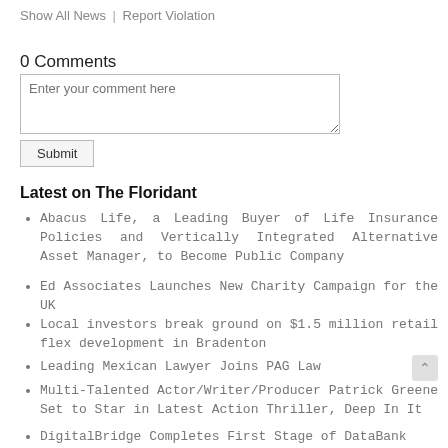Show All News | Report Violation
0 Comments
Enter your comment here
Submit
Latest on The Floridant
Abacus Life, a Leading Buyer of Life Insurance Policies and Vertically Integrated Alternative Asset Manager, to Become Public Company
Ed Associates Launches New Charity Campaign for the UK
Local investors break ground on $1.5 million retail flex development in Bradenton
Leading Mexican Lawyer Joins PAG Law
Multi-Talented Actor/Writer/Producer Patrick Greene Set to Star in Latest Action Thriller, Deep In It
DigitalBridge Completes First Stage of DataBank